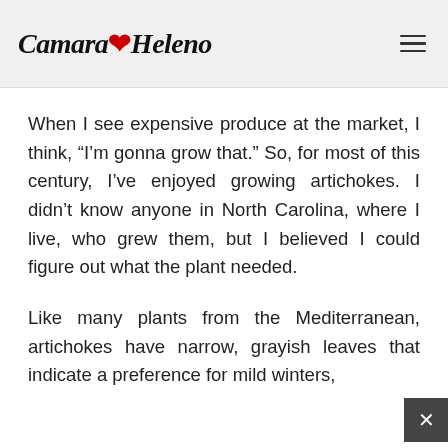Camara Heleno
When I see expensive produce at the market, I think, “I’m gonna grow that.” So, for most of this century, I’ve enjoyed growing artichokes. I didn’t know anyone in North Carolina, where I live, who grew them, but I believed I could figure out what the plant needed.
Like many plants from the Mediterranean, artichokes have narrow, grayish leaves that indicate a preference for mild winters, followed by…
Search for
01. Top EHR Mental Health Software
02. Affordable Glasses Online
Yahoo! Search | Sponsored